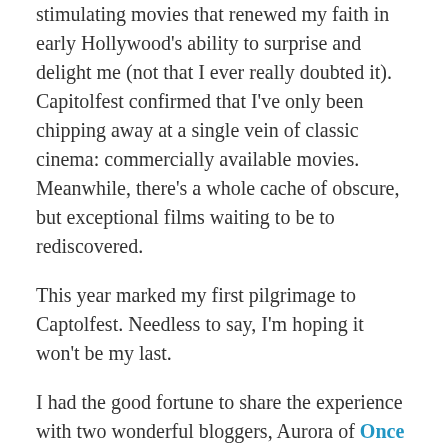stimulating movies that renewed my faith in early Hollywood's ability to surprise and delight me (not that I ever really doubted it). Capitolfest confirmed that I've only been chipping away at a single vein of classic cinema: commercially available movies. Meanwhile, there's a whole cache of obscure, but exceptional films waiting to be to rediscovered.
This year marked my first pilgrimage to Captolfest. Needless to say, I'm hoping it won't be my last.
I had the good fortune to share the experience with two wonderful bloggers, Aurora of Once Upon a Screen and Annmarie of Classic Movie Hub, as well as my extraordinarily understanding mother (@MiddParent on Twitter). I also got to meet Beth of Spellbound by Movies, who flew in from San Francisco for the festival,